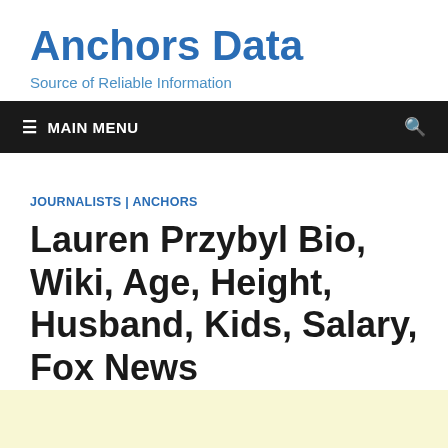Anchors Data
Source of Reliable Information
≡ MAIN MENU
JOURNALISTS | ANCHORS
Lauren Przybyl Bio, Wiki, Age, Height, Husband, Kids, Salary, Fox News
September 2, 2020  -  by Admin